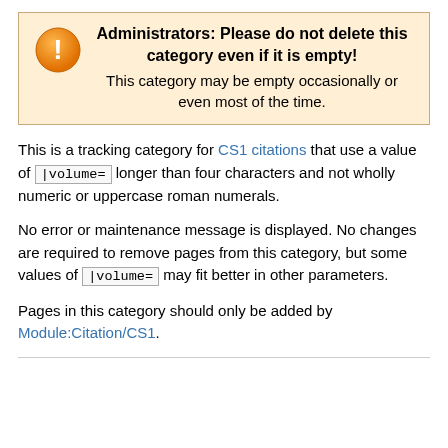Administrators: Please do not delete this category even if it is empty! This category may be empty occasionally or even most of the time.
This is a tracking category for CS1 citations that use a value of |volume= longer than four characters and not wholly numeric or uppercase roman numerals.
No error or maintenance message is displayed. No changes are required to remove pages from this category, but some values of |volume= may fit better in other parameters.
Pages in this category should only be added by Module:Citation/CS1.